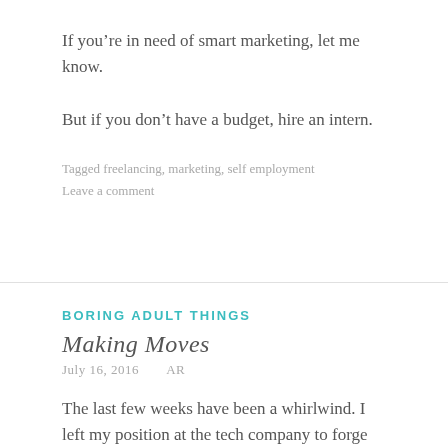If you’re in need of smart marketing, let me know.
But if you don’t have a budget, hire an intern.
Tagged freelancing, marketing, self employment
Leave a comment
BORING ADULT THINGS
Making Moves
July 16, 2016    AR
The last few weeks have been a whirlwind. I left my position at the tech company to forge my own path as a consultant, and it’s been up and down as I transition. There is a weird